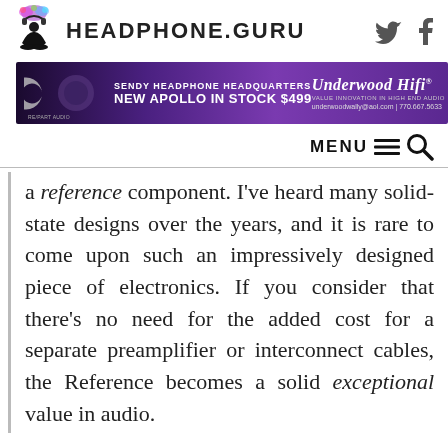HEADPHONE.GURU
[Figure (infographic): Headphone.Guru banner advertisement for Underwood HiFi — Sendy Headphone Headquarters, New Apollo in Stock $499. underwoodwally@aol.com | 770.667.5633]
MENU
a reference component. I've heard many solid-state designs over the years, and it is rare to come upon such an impressively designed piece of electronics. If you consider that there's no need for the added cost for a separate preamplifier or interconnect cables, the Reference becomes a solid exceptional value in audio.